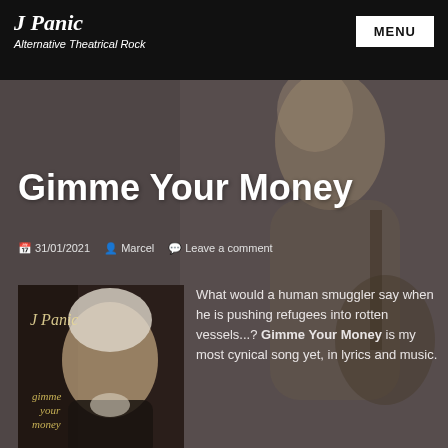J Panic — Alternative Theatrical Rock
Gimme Your Money
31/01/2021   Marcel   Leave a comment
[Figure (photo): Album art cover for 'Gimme Your Money' by J Panic — black and white photo of a man with white hair, with handwritten text 'J Panic' and 'Gimme Your Money' overlaid]
What would a human smuggler say when he is pushing refugees into rotten vessels...? Gimme Your Money is my most cynical song yet, in lyrics and music.
"The captain is a one-armed dwarf". While cooking I was listening to Singapore by